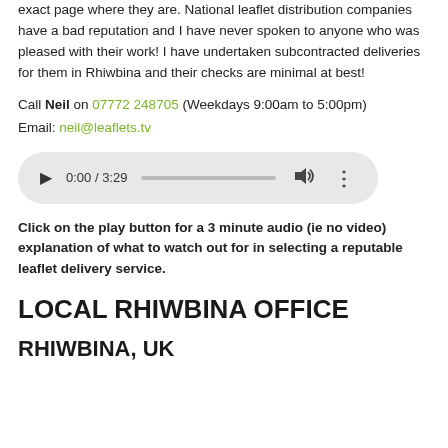exact page where they are. National leaflet distribution companies have a bad reputation and I have never spoken to anyone who was pleased with their work! I have undertaken subcontracted deliveries for them in Rhiwbina and their checks are minimal at best!
Call Neil on 07772 248705 (Weekdays 9:00am to 5:00pm)
Email: neil@leaflets.tv
[Figure (other): Audio player widget showing 0:00 / 3:29 with play button, progress bar, volume and more options controls]
Click on the play button for a 3 minute audio (ie no video) explanation of what to watch out for in selecting a reputable leaflet delivery service.
LOCAL RHIWBINA OFFICE
RHIWBINA, UK